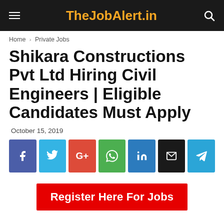TheJobAlert.in
Home › Private Jobs
Shikara Constructions Pvt Ltd Hiring Civil Engineers | Eligible Candidates Must Apply
October 15, 2019
[Figure (infographic): Social sharing buttons row: Facebook (blue-purple), Twitter (light blue), Google+ (red), WhatsApp (green), LinkedIn (blue), Email (black), Telegram (blue)]
[Figure (infographic): Red banner button with white bold text: Register Here For Jobs]